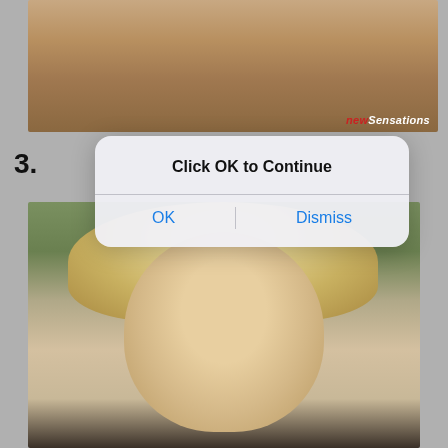[Figure (photo): Partial view of a person in white lingerie against a dark background, with a 'New Sensations' watermark in the lower right corner.]
3.
[Figure (screenshot): iOS-style dialog box overlaying an image, with title 'Click OK to Continue' and two buttons: 'OK' on the left and 'Dismiss' on the right.]
[Figure (photo): A blonde woman looking to the side outdoors with blurred green background.]